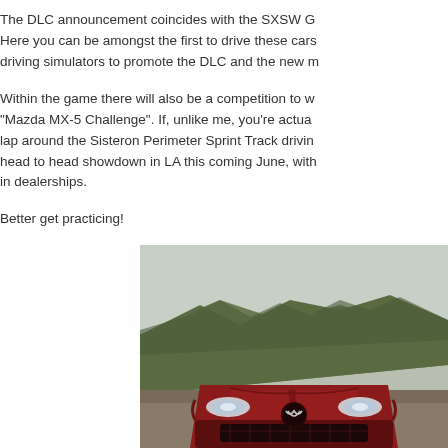The DLC announcement coincides with the SXSW G Here you can be amongst the first to drive these cars driving simulators to promote the DLC and the new m

Within the game there will also be a competition to w "Mazda MX-5 Challenge". If, unlike me, you're actua lap around the Sisteron Perimeter Sprint Track drivin head to head showdown in LA this coming June, with in dealerships.

Better get practicing!
[Figure (photo): Close-up front view of a red Mazda MX-5 sports car parked on a road with a forested hill/mountain in the background under an overcast sky.]